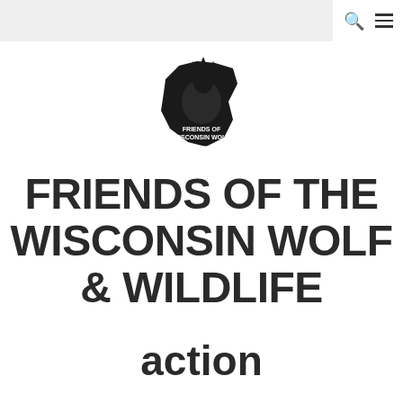[Figure (logo): Friends of Wisconsin Wolf logo — silhouette of a howling wolf overlaid on the shape of Wisconsin state, with text 'FRIENDS OF WISCONSIN WOLF' and a subtitle about protection of the wolves of Wisconsin]
FRIENDS OF THE WISCONSIN WOLF & WILDLIFE
action